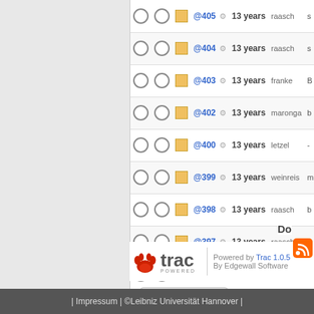|  |  |  | Rev |  | Age | Author | Desc |
| --- | --- | --- | --- | --- | --- | --- | --- |
| ○ | ○ | □ | @405 | ⚙ | 13 years | raasch | s |
| ○ | ○ | □ | @404 | ⚙ | 13 years | raasch | s |
| ○ | ○ | □ | @403 | ⚙ | 13 years | franke | B |
| ○ | ○ | □ | @402 | ⚙ | 13 years | maronga | b |
| ○ | ○ | □ | @400 | ⚙ | 13 years | letzel | - |
| ○ | ○ | □ | @399 | ⚙ | 13 years | weinreis | m |
| ○ | ○ | □ | @398 | ⚙ | 13 years | raasch | b |
| ○ | ○ | □ | @397 | ⚙ | 13 years | raasch | a |
| ○ | ○ | □ | @394 | ⚙ | 13 years | heinze | w |
| ● | ○ |  |  |  |  |  |  |
View changes
[Figure (logo): Trac powered logo with paw icon]
Powered by Trac 1.0.5 By Edgewall Software
| Impressum | ©Leibniz Universität Hannover |